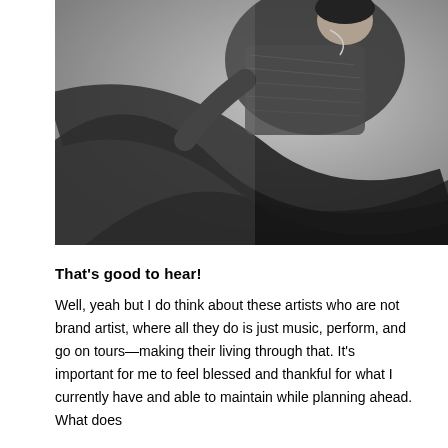[Figure (photo): Black and white fashion photograph of a person in a textured jacket, shot from below with a large curved dark shape sweeping across the image. The figure appears upside-down or at an unusual angle, creating a dramatic artistic composition.]
That's good to hear!
Well, yeah but I do think about these artists who are not brand artist, where all they do is just music, perform, and go on tours—making their living through that. It's important for me to feel blessed and thankful for what I currently have and able to maintain while planning ahead. What does